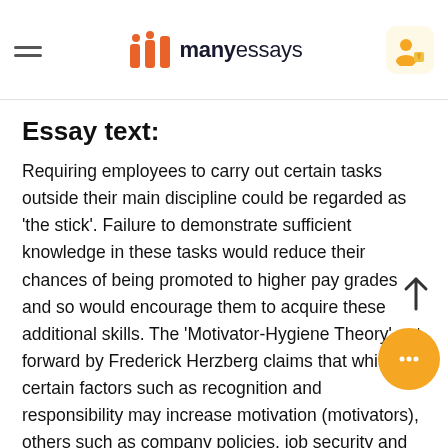manyessays
Essay text:
Requiring employees to carry out certain tasks outside their main discipline could be regarded as 'the stick'. Failure to demonstrate sufficient knowledge in these tasks would reduce their chances of being promoted to higher pay grades and so would encourage them to acquire these additional skills. The 'Motivator-Hygiene Theory' put forward by Frederick Herzberg claims that while certain factors such as recognition and responsibility may increase motivation (motivators), others such as company policies, job security and wages (hygiene factors) may not necessarily do so. However, changes to these 'hygiene factors' could lead to employees becoming dissatisfied with the job and therefore losing motivation.